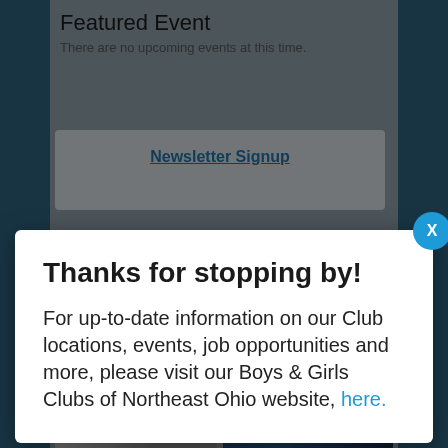Featured Event
There are no upcoming events at this time.
Newsletter Signup
Thanks for stopping by!
For up-to-date information on our Club locations, events, job opportunities and more, please visit our Boys & Girls Clubs of Northeast Ohio website, here.
[Figure (photo): Person in background photo (left)]
[Figure (photo): Holiday/congratulations card image with text reading 'Congratulations to the class of']